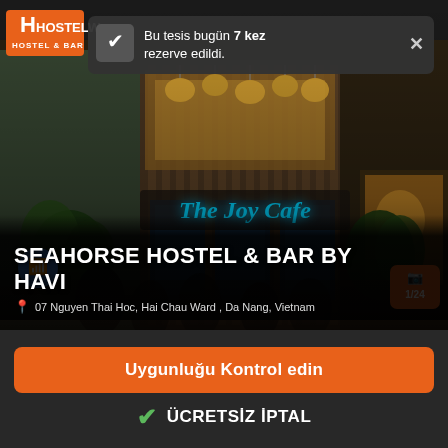[Figure (photo): Exterior photo of The Joy Cafe / Seahorse Hostel & Bar at night with people sitting outside, neon blue sign reading 'The Joy Cafe', warm amber lighting inside, lush plants visible]
Bu tesis bugün 7 kez rezerve edildi.
SEAHORSE HOSTEL & BAR BY HAVI
07 Nguyen Thai Hoc, Hai Chau Ward , Da Nang, Vietnam
Uygunluğu Kontrol edin
ÜCRETSİZ İPTAL